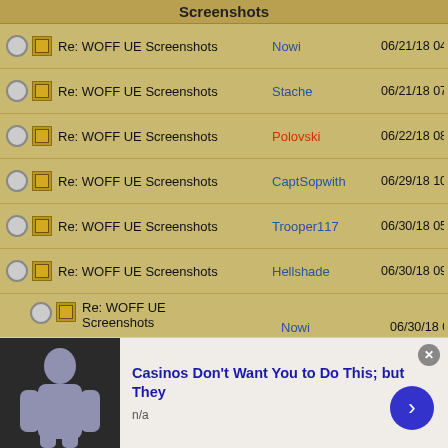Screenshots
Re: WOFF UE Screenshots | Nowi | 06/21/18 04:07 PM
Re: WOFF UE Screenshots | Stache | 06/21/18 07:23 PM
Re: WOFF UE Screenshots | Polovski | 06/22/18 08:47 AM
Re: WOFF UE Screenshots | CaptSopwith | 06/29/18 10:21 PM
Re: WOFF UE Screenshots | Trooper117 | 06/30/18 05:44 PM
Re: WOFF UE Screenshots | Hellshade | 06/30/18 09:24 PM
Re: WOFF UE Screenshots | Nowi | 06/30/18 09:43 PM
Re: WOFF UE Screenshots | Hellshade | 06/30/18 10:29 PM
Re: WOFF UE Screenshots | Robert_Wiggins | 07/01/18 09:26 PM
Re: WOFF UE Screenshots | Adger | 07/03/18 12:18 AM
Re: WOFF UE Screenshots | Polovski | 07/05/18 09:47 AM
[Figure (screenshot): Ad banner: Casinos Don't Want You to Do This; but They - n/a, with a person image and a blue arrow button]